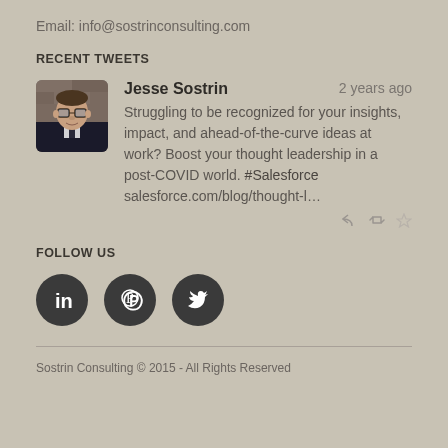Email: info@sostrinconsulting.com
RECENT TWEETS
[Figure (photo): Profile photo of Jesse Sostrin, a man with glasses wearing a dark jacket, shown from shoulders up against a brick wall background.]
Jesse Sostrin    2 years ago
Struggling to be recognized for your insights, impact, and ahead-of-the-curve ideas at work? Boost your thought leadership in a post-COVID world. #Salesforce salesforce.com/blog/thought-l…
FOLLOW US
[Figure (logo): Three social media icons in dark circles: LinkedIn, Pinterest, and Twitter]
Sostrin Consulting © 2015 - All Rights Reserved